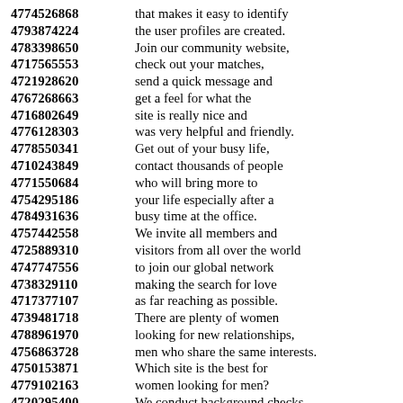4774526868  that makes it easy to identify
4793874224  the user profiles are created.
4783398650  Join our community website,
4717565553  check out your matches,
4721928620  send a quick message and
4767268663  get a feel for what the
4716802649  site is really nice and
4776128303  was very helpful and friendly.
4778550341  Get out of your busy life,
4710243849  contact thousands of people
4771550684  who will bring more to
4754295186  your life especially after a
4784931636  busy time at the office.
4757442558  We invite all members and
4725889310  visitors from all over the world
4747747556  to join our global network
4738329110  making the search for love
4717377107  as far reaching as possible.
4739481718  There are plenty of women
4788961970  looking for new relationships,
4756863728  men who share the same interests.
4750153871  Which site is the best for
4779102163  women looking for men?
4720295400  We conduct background checks
4717664387  to ensure a good service